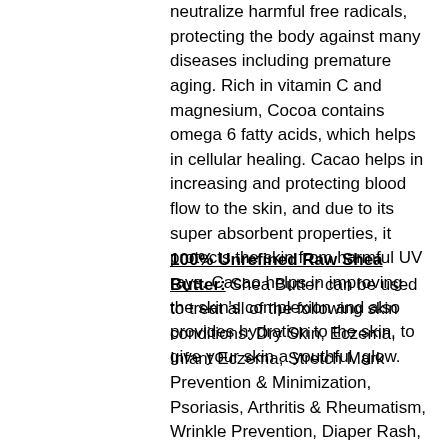neutralize harmful free radicals, protecting the body against many diseases including premature aging. Rich in vitamin C and magnesium, Cocoa contains omega 6 fatty acids, which helps in cellular healing. Cacao helps in increasing and protecting blood flow to the skin, and due to its super absorbent properties, it protects the skin from harmful UV rays. Cacao helps in improving the skin's complexion and also provides hydration to the skin, to give your skin a youthful glow.
100% Unrefined Raw Shea Butter: Shea Butter can be used to treat all of the following skin conditions: Dry Skin, Eczema, Infant Eczema, Stretch Mark Prevention & Minimization, Psoriasis, Arthritis & Rheumatism, Wrinkle Prevention, Diaper Rash, Muscle Fatigue, Scar Minimization & Skin Discolorations, Dry Hair & Scalp and as a natural shaving agent. Shea Butter has been used for centuries for its amazing abilities to renew, repair, and protect the skin. Shea Butter helps to alleviate eczema, soothes sunburn, minimizes stretch marks, long lasting moisturizer, rich in vitamin E, A, and F.